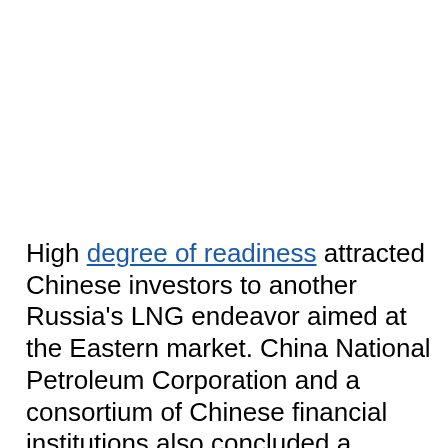High degree of readiness attracted Chinese investors to another Russia's LNG endeavor aimed at the Eastern market. China National Petroleum Corporation and a consortium of Chinese financial institutions also concluded a memorandum on project financing for Novatek's $20 billion Yamal LNG project in Russia's Arctic buying 20% stake in it. Novatek envisages the construction of an LNG plant with annual capacity of 16.5 million tons per annum based on the feedstock resources of the South-